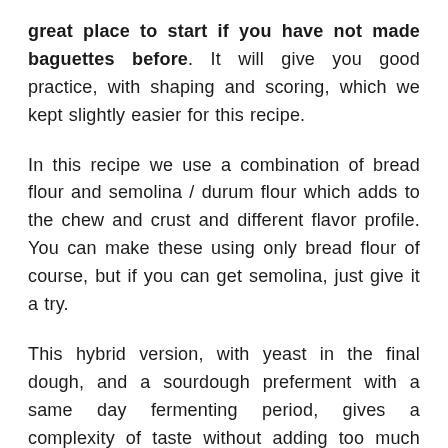great place to start if you have not made baguettes before. It will give you good practice, with shaping and scoring, which we kept slightly easier for this recipe.
In this recipe we use a combination of bread flour and semolina / durum flour which adds to the chew and crust and different flavor profile. You can make these using only bread flour of course, but if you can get semolina, just give it a try.
This hybrid version, with yeast in the final dough, and a sourdough preferment with a same day fermenting period, gives a complexity of taste without adding too much sourness, leaving room for the sweetness we like in these types of bread. It is a great recipe for you to experiment with and make your own.